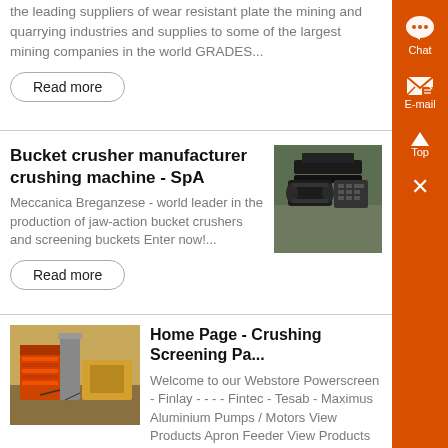the leading suppliers of wear resistant plate the mining and quarrying industries and supplies to some of the largest mining companies in the world GRADES...
Read more
Bucket crusher manufacturer crushing machine - SpA
Meccanica Breganzese - world leader in the production of jaw-action bucket crushers and screening buckets Enter now!...
Read more
[Figure (photo): Photo of crushing machine equipment - metal parts on table]
Home Page - Crushing Screening Pa...
Welcome to our Webstore Powerscreen - Finlay - - - - Fintec - Tesab - Maximus Aluminium Pumps / Motors View Products Apron Feeder View Products Bearings View...
[Figure (photo): Photo of crushing/screening equipment - red and grey machinery parts outdoors]